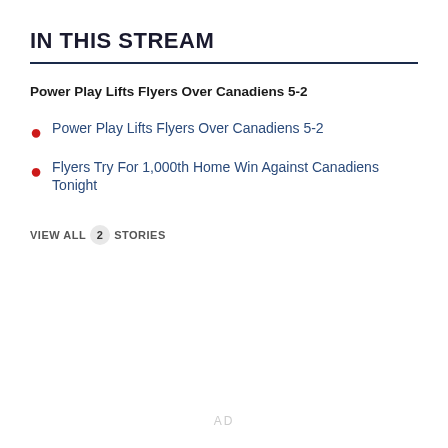IN THIS STREAM
Power Play Lifts Flyers Over Canadiens 5-2
Power Play Lifts Flyers Over Canadiens 5-2
Flyers Try For 1,000th Home Win Against Canadiens Tonight
VIEW ALL 2 STORIES